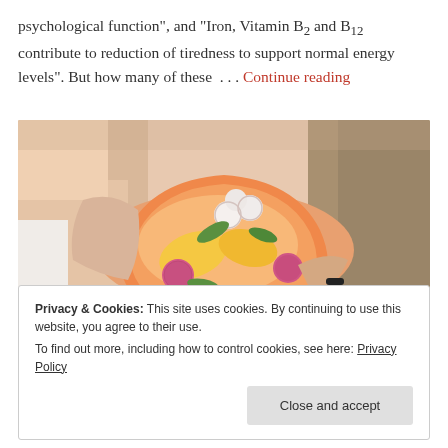psychological function", and "Iron, Vitamin B2 and B12 contribute to reduction of tiredness to support normal energy levels". But how many of these … Continue reading
[Figure (photo): Person holding an open papaya or melon fruit filled with exotic colorful fruits including lychees, mango slices, and other tropical fruits, arranged decoratively.]
Privacy & Cookies: This site uses cookies. By continuing to use this website, you agree to their use. To find out more, including how to control cookies, see here: Privacy Policy